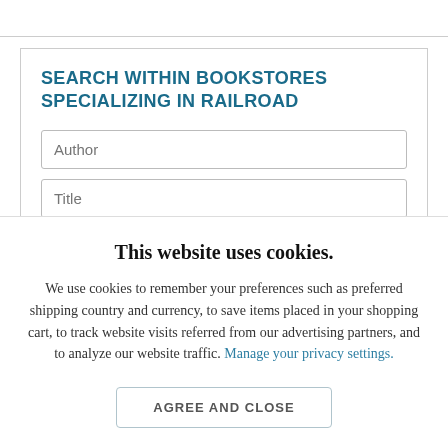SEARCH WITHIN BOOKSTORES SPECIALIZING IN RAILROAD
Author
Title
Keyword or ISBN
This website uses cookies.
We use cookies to remember your preferences such as preferred shipping country and currency, to save items placed in your shopping cart, to track website visits referred from our advertising partners, and to analyze our website traffic. Manage your privacy settings.
AGREE AND CLOSE